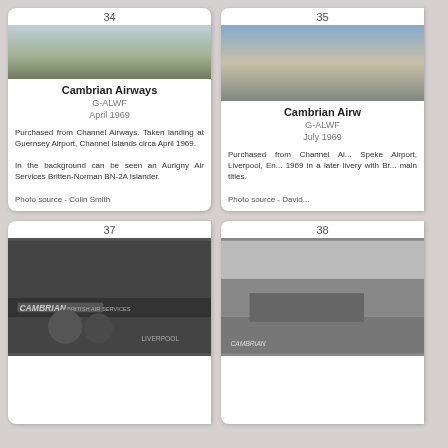[Figure (photo): Card 34: Color photo of a Cambrian Airways aircraft (G-ALWF) landing at Guernsey Airport, April 1969. An Aurigny Air Services Britten-Norman BN-2A Islander is visible in the background.]
Cambrian Airways
G-ALWF
April 1969
Purchased from Channel Airways. Taken landing at Guernsey Airport, Channel Islands circa April 1969.

In the background can be seen an Aurigny Air Services Britten-Norman BN-2A Islander.

Photo source - Colin Smith
[Figure (photo): Card 35: Color photo of a Cambrian Airways aircraft (G-ALWF) at Speke Airport, Liverpool, July 1969, in a later livery with British Air Services main titles.]
Cambrian Airw...
G-ALWF
July 1969
Purchased from Channel Ai... Speke Airport, Liverpool, En... 1969 in a later livery with Br... main titles.

Photo source - David...
[Figure (photo): Card 37: Black and white photo of Cambrian British Air Services aircraft interior/exterior scene at Liverpool with people in foreground.]
[Figure (photo): Card 38: Black and white photo of a Cambrian aircraft on a runway with hills and airport buildings in the background.]